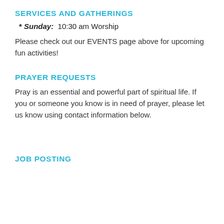SERVICES AND GATHERINGS
* Sunday:  10:30 am Worship
Please check out our EVENTS page above for upcoming fun activities!
PRAYER REQUESTS
Pray is an essential and powerful part of spiritual life. If you or someone you know is in need of prayer, please let us know using contact information below.
JOB POSTING